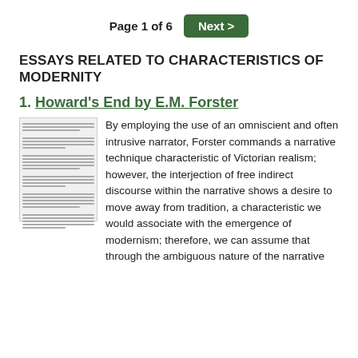Page 1 of 6   Next >
ESSAYS RELATED TO CHARACTERISTICS OF MODERNITY
1. Howard's End by E.M. Forster
[Figure (illustration): Thumbnail image of a document/essay page with dense small text lines]
By employing the use of an omniscient and often intrusive narrator, Forster commands a narrative technique characteristic of Victorian realism; however, the interjection of free indirect discourse within the narrative shows a desire to move away from tradition, a characteristic we would associate with the emergence of modernism; therefore, we can assume that through the ambiguous nature of the narrative